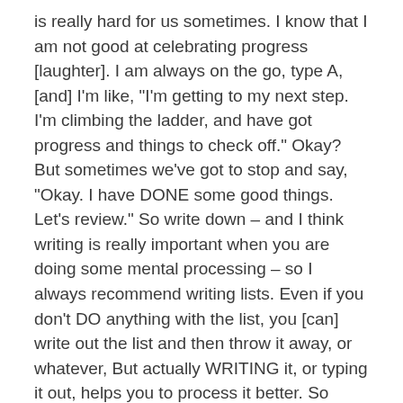is really hard for us sometimes. I know that I am not good at celebrating progress [laughter]. I am always on the go, type A, [and] I'm like, "I'm getting to my next step. I'm climbing the ladder, and have got progress and things to check off." Okay? But sometimes we've got to stop and say, "Okay. I have DONE some good things. Let's review." So write down – and I think writing is really important when you are doing some mental processing – so I always recommend writing lists. Even if you don't DO anything with the list, you [can] write out the list and then throw it away, or whatever, But actually WRITING it, or typing it out, helps you to process it better. So write down FIVE ways that you have made progress in your writing project so far.